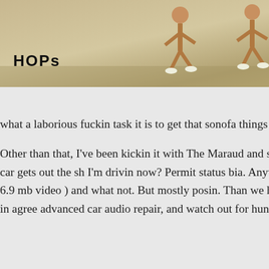[Figure (photo): Photo showing two people jumping or hopping, with a logo/label reading 'HOPs' in bold black text overlaid on the lower-left of the image.]
with no avail. Y nintendo from quite a while s
what a laborious fuckin task it is to get that sonofa things much easier. Hoppin on mushrooms made it
Other than that, I've been kickin it with The Maraud and some eves. Ridin shotty to some late night fly right here, but thats jus until my car gets out the sh I'm drivin now? Permit status bia. Anyway me and th been seen hoppin around on the 5-story, makin a r with cars ( 6.9 mb video ) and what not. But mostly posin. Than we have Joe, our fearless driver, notice for heightened douschness and even Ian is in agree advanced car audio repair, and watch out for hungr people up.